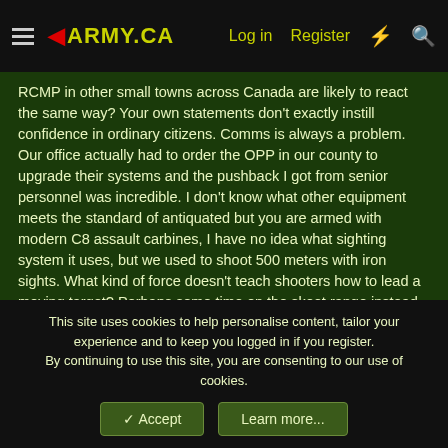ARMY.CA — Log in | Register
RCMP in other small towns across Canada are likely to react the same way? Your own statements don't exactly instill confidence in ordinary citizens. Comms is always a problem. Our office actually had to order the OPP in our county to upgrade their systems and the pushback I got from senior personnel was incredible. I don't know what other equipment meets the standard of antiquated but you are armed with modern C8 assault carbines, I have no idea what sighting system it uses, but we used to shoot 500 meters with iron sights. What kind of force doesn't teach shooters how to lead a moving target? Perhaps some time on the skeet range instead of shredding paper indoors.Vehicles are just a means to get A to B. I could suggest hard armour in the trunk, if they get into a shootout. What other modernization are you missing? Now, by
This site uses cookies to help personalise content, tailor your experience and to keep you logged in if you register.
By continuing to use this site, you are consenting to our use of cookies.